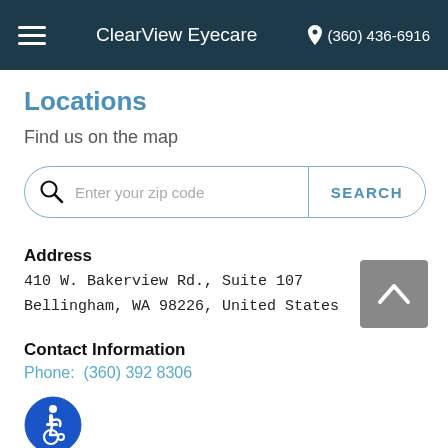ClearView Eyecare  (360) 436-6916
Locations
Find us on the map
Enter your zip code  SEARCH
Address
410 W. Bakerview Rd., Suite 107
Bellingham, WA 98226, United States
Contact Information
Phone:  (360) 392 8306
[Figure (illustration): Wheelchair accessibility icon — blue circle with white wheelchair symbol]